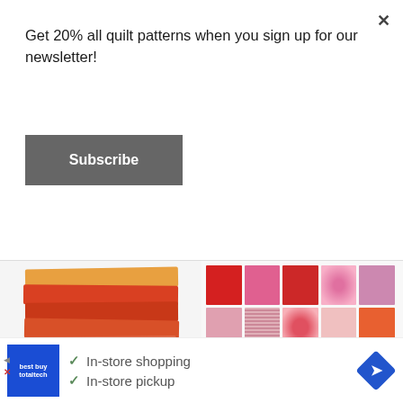Get 20% all quilt patterns when you sign up for our newsletter!
Subscribe
[Figure (photo): Stack of colorful fabric fat quarters in orange, red, pink, magenta, purple, and teal colors with FIGO brand label visible]
[Figure (photo): Grid of colorful fabric swatches arranged in rows and columns showing various patterns and colors including red, pink, purple, orange, teal, yellow, and blue fabrics]
In-store shopping
In-store pickup